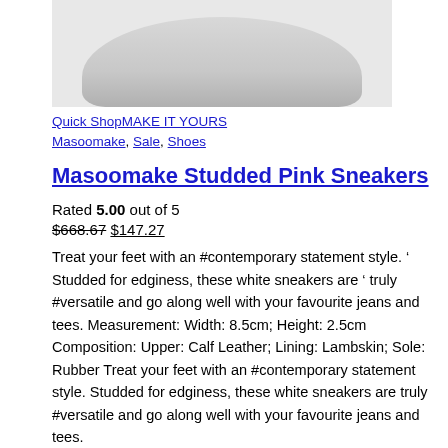[Figure (photo): Partial view of a white sneaker on a light grey background, showing the top/side of the shoe]
Quick ShopMAKE IT YOURS
Masoomake, Sale, Shoes
Masoomake Studded Pink Sneakers
Rated 5.00 out of 5
$668.67 $147.27
Treat your feet with an #contemporary statement style. ' Studded for edginess, these white sneakers are ' truly #versatile and go along well with your favourite jeans and tees. Measurement: Width: 8.5cm; Height: 2.5cm Composition: Upper: Calf Leather; Lining: Lambskin; Sole: Rubber Treat your feet with an #contemporary statement style. Studded for edginess, these white sneakers are truly #versatile and go along well with your favourite jeans and tees.
MAKE IT YOURS